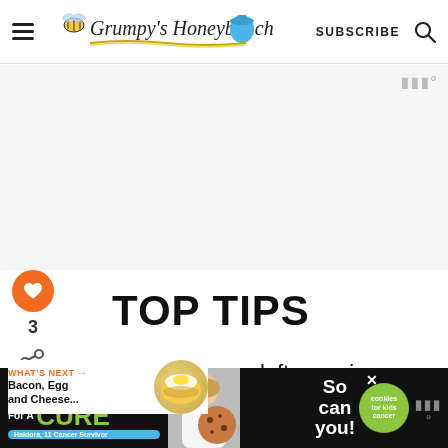Grumpy's Honeybunch — SUBSCRIBE
[Figure (screenshot): Ad placeholder area (blank white/gray space)]
TOP TIPS
[Figure (infographic): WHAT'S NEXT → Bacon, Egg and Cheese... with circular food image]
e any leftovers in an airtight packages up to 3 months.
[Figure (infographic): I Bake COOKIES For A CURE — Haldora, 11 Cancer Survivor — So can you! — cookies for kids cancer ad banner]